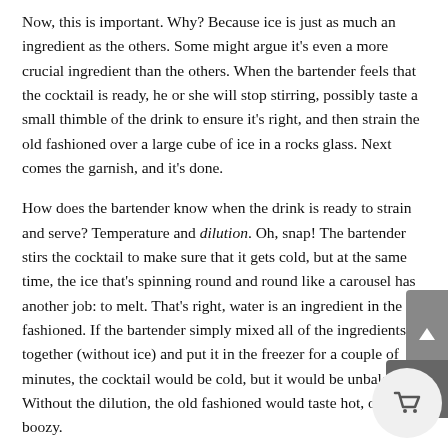Now, this is important. Why? Because ice is just as much an ingredient as the others. Some might argue it's even a more crucial ingredient than the others. When the bartender feels that the cocktail is ready, he or she will stop stirring, possibly taste a small thimble of the drink to ensure it's right, and then strain the old fashioned over a large cube of ice in a rocks glass. Next comes the garnish, and it's done.
How does the bartender know when the drink is ready to strain and serve? Temperature and dilution. Oh, snap! The bartender stirs the cocktail to make sure that it gets cold, but at the same time, the ice that's spinning round and round like a carousel has another job: to melt. That's right, water is an ingredient in the old fashioned. If the bartender simply mixed all of the ingredients together (without ice) and put it in the freezer for a couple of minutes, the cocktail would be cold, but it would be unbalanced. Without the dilution, the old fashioned would taste hot, or too boozy.